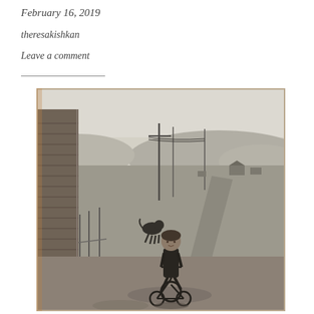February 16, 2019
theresakishkan
Leave a comment
[Figure (photo): Vintage black-and-white photograph of a young child riding a tricycle on a dirt road near a wooden building. A dog is visible in the background, with rolling hills, utility poles, and distant farm buildings in the landscape.]